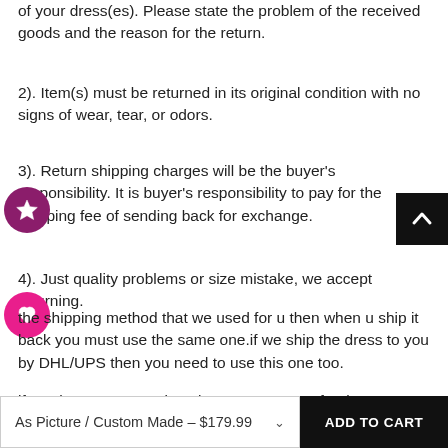of your dress(es). Please state the problem of the received goods and the reason for the return.
2). Item(s) must be returned in its original condition with no signs of wear, tear, or odors.
3). Return shipping charges will be the buyer's responsibility. It is buyer's responsibility to pay for the shipping fee of sending back for exchange.
4). Just quality problems or size mistake, we accept returning.
the shipping method that we used for u then when u ship it back you must use the same one.if we ship the dress to you by DHL/UPS then you need to use this one too.
if you have any question please contact me freely !